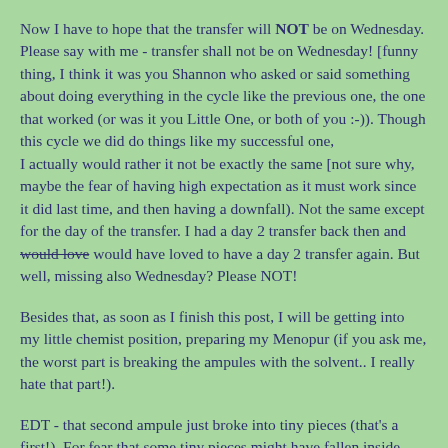Now I have to hope that the transfer will NOT be on Wednesday. Please say with me - transfer shall not be on Wednesday! [funny thing, I think it was you Shannon who asked or said something about doing everything in the cycle like the previous one, the one that worked (or was it you Little One, or both of you :-)). Though this cycle we did do things like my successful one,
I actually would rather it not be exactly the same [not sure why, maybe the fear of having high expectation as it must work since it did last time, and then having a downfall). Not the same except for the day of the transfer. I had a day 2 transfer back then and would love would have loved to have a day 2 transfer again. But well, missing also Wednesday? Please NOT!
Besides that, as soon as I finish this post, I will be getting into my little chemist position, preparing my Menopur (if you ask me, the worst part is breaking the ampules with the solvent.. I really hate that part!).
EDT - that second ampule just broke into tiny pieces (that's a first!). For fear that some tiny pieces might have fallen inside (and then me injecting them..) I had to break another one. Oh well..